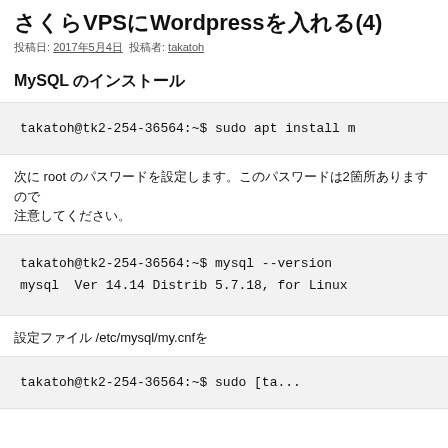さくらVPSにWordpressを入れる(4)
投稿日: 2017年5月4日 投稿者: takatoh
MySQL のインストール
takatoh@tk2-254-36564:~$ sudo apt install m
次に root のパスワードを設定します。このパスワードは2箇所ありますので注意してください。
takatoh@tk2-254-36564:~$ mysql --version
mysql  Ver 14.14 Distrib 5.7.18, for Linux
設定ファイル /etc/mysql/my.cnfを
takatoh@tk2-254-36564:~$ sudo [ta...